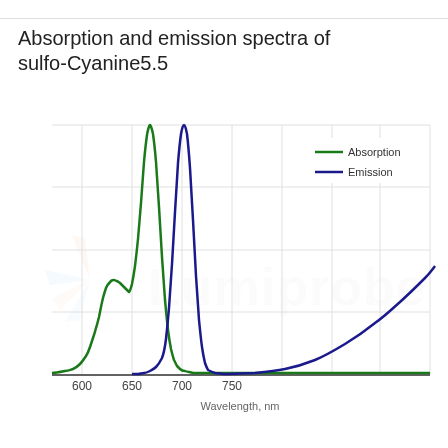Absorption and emission spectra of sulfo-Cyanine5.5
[Figure (continuous-plot): Absorption and emission spectra of sulfo-Cyanine5.5. Green curve: Absorption with peak near 650 nm, secondary shoulder near 620 nm. Dark blue/navy curve: Emission with peak near 675-680 nm, broader tail extending to ~790 nm. X-axis: Wavelength, nm (range ~570–790 nm). Gridlines at 600, 650, 700, 750. Legend shows Absorption (green line) and Emission (dark blue line). Lumiprobe watermark in center.]